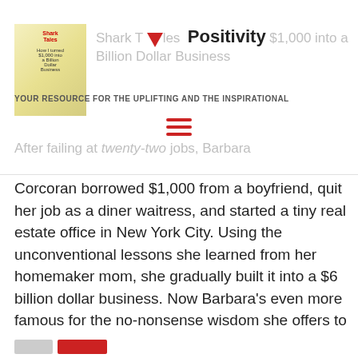[Figure (illustration): Book cover thumbnail for Shark Tales]
Shark Tales → Positivity $1,000 into a Billion Dollar Business
YOUR RESOURCE FOR THE UPLIFTING AND THE INSPIRATIONAL
[Figure (other): Hamburger menu icon with three red horizontal lines]
After failing at twenty-two jobs, Barbara Corcoran borrowed $1,000 from a boyfriend, quit her job as a diner waitress, and started a tiny real estate office in New York City. Using the unconventional lessons she learned from her homemaker mom, she gradually built it into a $6 billion dollar business. Now Barbara's even more famous for the no-nonsense wisdom she offers to entrepreneurs on Shark Tank, ABC's hit reality TV show.